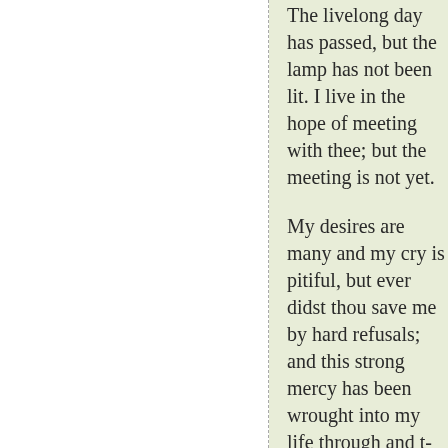The livelong day has passed, but the lamp has not been lit. I live in the hope of meeting with thee; but the meeting is not yet.
My desires are many and my cry is pitiful, but ever didst thou save me by hard refusals; and this strong mercy has been wrought into my life through and through.
Day by day thou art making me worthy of the simple, great gifts that thou gavest to me unasked—this sky and the light, this body and the life and the mind—saving me from perils of overmuch desire.
There are times when I languidly linger and times when I awaken and hurry in search of my goal; but cruelly thou hidest thyself from before me.
Day by day thou art making me worthy of thy full acceptance by refusing me ever and anon, saving me from perils of weak, uncertain desire.